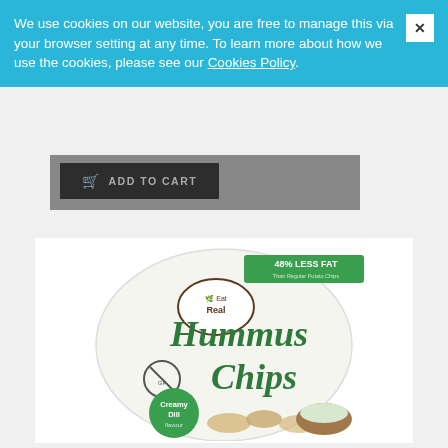We use cookies on our website, you are free to manage this via your browser setting at any time. To learn more about how we use the cookies, please see our Cookies Policy.
[Figure (photo): Product photo of Eat Real Hummus Chips bag, Creamy Dill flavour, with '48% Less Fat' banner on top right. The white bag shows 'Eat Real' brand logo, 'Hummus Chips' text in green script, a gluten-free badge, and a green circle saying 'Creamy Dill flavour'. Chips and a dip bowl are shown at the bottom of the bag.]